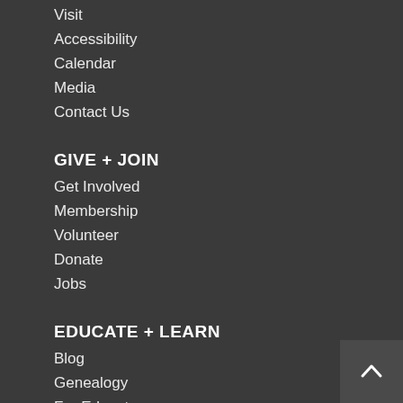Visit
Accessibility
Calendar
Media
Contact Us
GIVE + JOIN
Get Involved
Membership
Volunteer
Donate
Jobs
EDUCATE + LEARN
Blog
Genealogy
For Educators
End Slavery Now